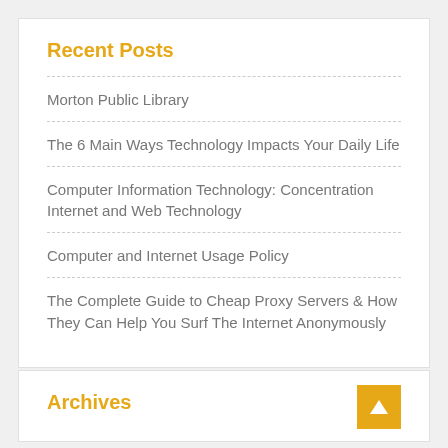Recent Posts
Morton Public Library
The 6 Main Ways Technology Impacts Your Daily Life
Computer Information Technology: Concentration Internet and Web Technology
Computer and Internet Usage Policy
The Complete Guide to Cheap Proxy Servers & How They Can Help You Surf The Internet Anonymously
Archives